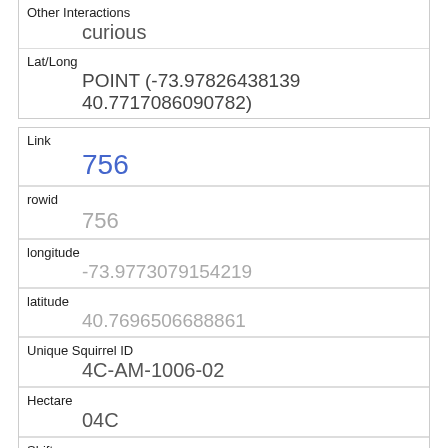| Other Interactions | curious |
| Lat/Long | POINT (-73.97826438139 40.7717086090782) |
| Link | 756 |
| rowid | 756 |
| longitude | -73.9773079154219 |
| latitude | 40.7696506688861 |
| Unique Squirrel ID | 4C-AM-1006-02 |
| Hectare | 04C |
| Shift | AM |
| Date |  |